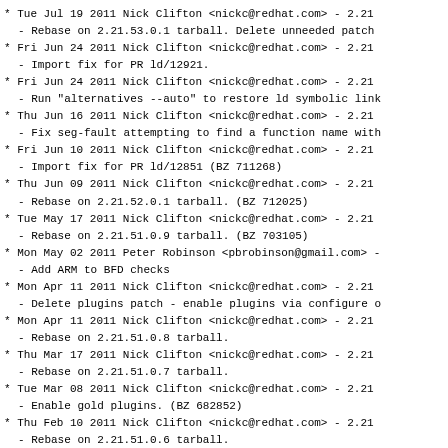* Tue Jul 19 2011 Nick Clifton <nickc@redhat.com> - 2.21
  - Rebase on 2.21.53.0.1 tarball.  Delete unneeded patch
* Fri Jun 24 2011 Nick Clifton <nickc@redhat.com> - 2.21
  - Import fix for PR ld/12921.
* Fri Jun 24 2011 Nick Clifton <nickc@redhat.com> - 2.21
  - Run "alternatives --auto" to restore ld symbolic link
* Thu Jun 16 2011 Nick Clifton <nickc@redhat.com> - 2.21
  - Fix seg-fault attempting to find a function name with
* Fri Jun 10 2011 Nick Clifton <nickc@redhat.com> - 2.21
  - Import fix for PR ld/12851 (BZ 711268)
* Thu Jun 09 2011 Nick Clifton <nickc@redhat.com> - 2.21
  - Rebase on 2.21.52.0.1 tarball.  (BZ 712025)
* Tue May 17 2011 Nick Clifton <nickc@redhat.com> - 2.21
  - Rebase on 2.21.51.0.9 tarball.  (BZ 703105)
* Mon May 02 2011 Peter Robinson <pbrobinson@gmail.com> -
  - Add ARM to BFD checks
* Mon Apr 11 2011 Nick Clifton <nickc@redhat.com> - 2.21
  - Delete plugins patch - enable plugins via configure o
* Mon Apr 11 2011 Nick Clifton <nickc@redhat.com> - 2.21
  - Rebase on 2.21.51.0.8 tarball.
* Thu Mar 17 2011 Nick Clifton <nickc@redhat.com> - 2.21
  - Rebase on 2.21.51.0.7 tarball.
* Tue Mar 08 2011 Nick Clifton <nickc@redhat.com> - 2.21
  - Enable gold plugins.  (BZ 682852)
* Thu Feb 10 2011 Nick Clifton <nickc@redhat.com> - 2.21
  - Rebase on 2.21.51.0.6 tarball.
* Mon Feb 07 2011 Fedora Release Engineering <rel-eng@lis
  - Rebuilt for https://fedoraproject.org/wiki/Fedora_15
* Fri Jan 28 2011 Jakub Jelinek <jakub@redhat.com> - 2.21
  - Readd --build-id fix patch.  (PR ld/12451)